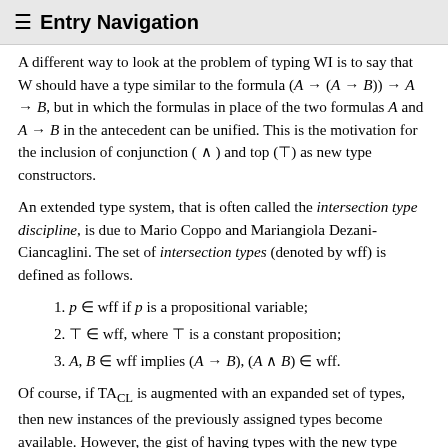≡  Entry Navigation
A different way to look at the problem of typing WI is to say that W should have a type similar to the formula (A → (A → B)) → A → B, but in which the formulas in place of the two formulas A and A → B in the antecedent can be unified. This is the motivation for the inclusion of conjunction ( ∧ ) and top (⊤) as new type constructors.
An extended type system, that is often called the intersection type discipline, is due to Mario Coppo and Mariangiola Dezani-Ciancaglini. The set of intersection types (denoted by wff) is defined as follows.
1. p ∈ wff if p is a propositional variable;
2. ⊤ ∈ wff, where ⊤ is a constant proposition;
3. A, B ∈ wff implies (A → B), (A ∧ B) ∈ wff.
Of course, if TA_CL is augmented with an expanded set of types, then new instances of the previously assigned types become available. However, the gist of having types with the new type constructors ∧ and ⊤ is that the set of